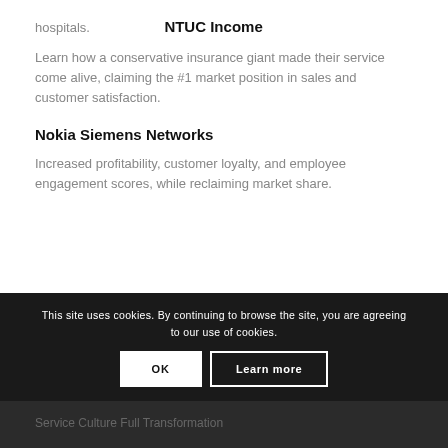hospitals.
NTUC Income
Learn how a conservative insurance giant made their service come alive, claiming the #1 market position in sales and customer satisfaction.
Nokia Siemens Networks
Increased profitability, customer loyalty, and employee engagement scores, while reclaiming market share.
This site uses cookies. By continuing to browse the site, you are agreeing to our use of cookies.
What We Do
Service Culture Full Transformation